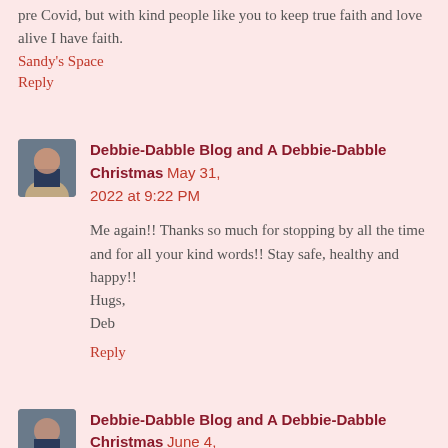pre Covid, but with kind people like you to keep true faith and love alive I have faith.
Sandy's Space
Reply
Debbie-Dabble Blog and A Debbie-Dabble Christmas May 31, 2022 at 9:22 PM
Me again!! Thanks so much for stopping by all the time and for all your kind words!! Stay safe, healthy and happy!!
Hugs,
Deb
Reply
Debbie-Dabble Blog and A Debbie-Dabble Christmas June 4, 2022 at 7:45 AM
Me again!! Glad to hear that your grand daughter enjoyed seeing Nelson Crest all decked out in her Patriotic finery!! thanks again for stopping by and for your kind words!! I hope you have a great weekend!! Stay safe, healthy and happy!!